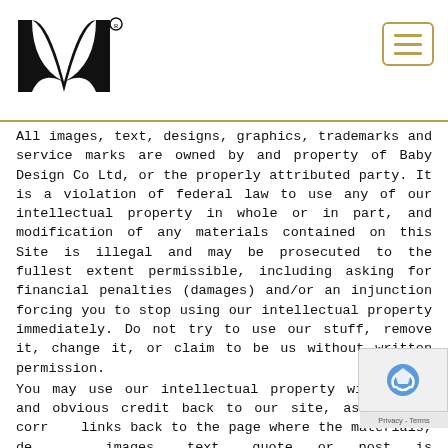[Figure (logo): Stylized M/W logo mark in black with registered trademark symbol]
All images, text, designs, graphics, trademarks and service marks are owned by and property of Baby Design Co Ltd, or the properly attributed party. It is a violation of federal law to use any of our intellectual property in whole or in part, and modification of any materials contained on this Site is illegal and may be prosecuted to the fullest extent permissible, including asking for financial penalties (damages) and/or an injunction forcing you to stop using our intellectual property immediately. Do not try to use our stuff, remove it, change it, or claim to be us without written permission.
You may use our intellectual property with clear and obvious credit back to our site, as well as correct links back to the page where the materials, designs, images, text, quote or post is specifically located, you never claim any of our intellectual property as